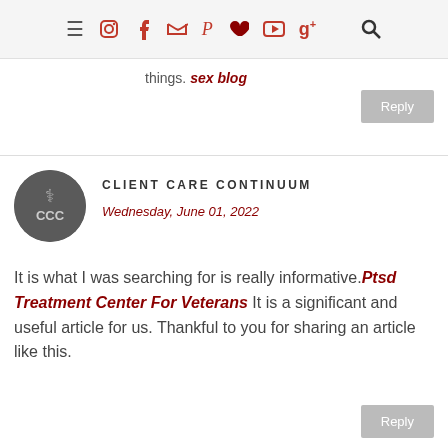Navigation bar with menu, social icons, and search
things. sex blog
Reply
CLIENT CARE CONTINUUM
Wednesday, June 01, 2022
It is what I was searching for is really informative.Ptsd Treatment Center For Veterans It is a significant and useful article for us. Thankful to you for sharing an article like this.
Reply